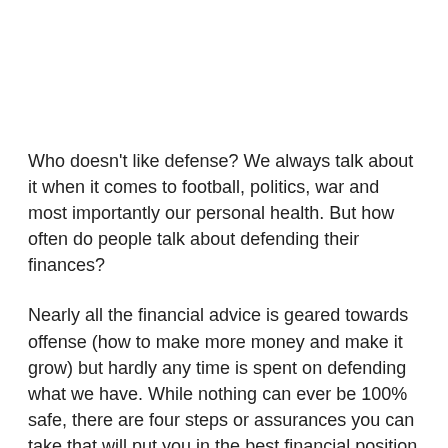Who doesn't like defense? We always talk about it when it comes to football, politics, war and most importantly our personal health. But how often do people talk about defending their finances?
Nearly all the financial advice is geared towards offense (how to make more money and make it grow) but hardly any time is spent on defending what we have. While nothing can ever be 100% safe, there are four steps or assurances you can take that will put you in the best financial position to succeed in your financial offense.
First though, what kind of things are their to defend